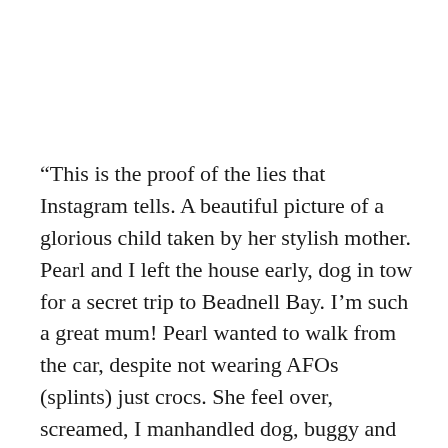“This is the proof of the lies that Instagram tells. A beautiful picture of a glorious child taken by her stylish mother. Pearl and I left the house early, dog in tow for a secret trip to Beadnell Bay. I’m such a great mum! Pearl wanted to walk from the car, despite not wearing AFOs (splints) just crocs. She feel over, screamed, I manhandled dog, buggy and screaming dervish onto beach where she continued to scream repeatedly. At this point I noticed that she had horrible dental caries on a back tooth she never lets me brush. Feeling